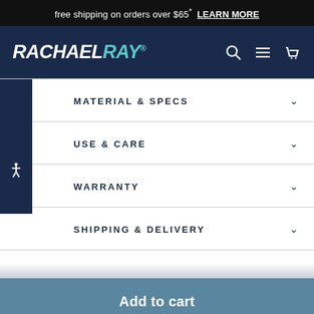free shipping on orders over $65* LEARN MORE
[Figure (logo): Rachael Ray logo in white/teal on dark navy navigation bar with search, menu, and cart icons]
MATERIAL & SPECS
USE & CARE
WARRANTY
SHIPPING & DELIVERY
[Figure (infographic): Add to cart button bar in steel blue at the bottom of the page]